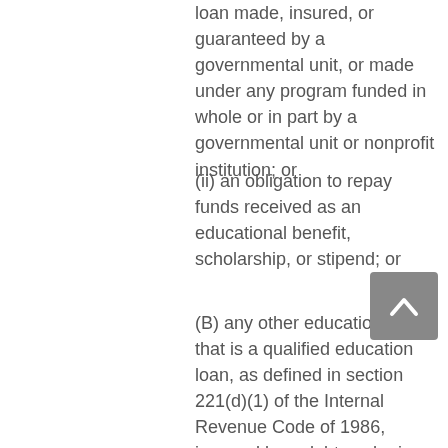loan made, insured, or guaranteed by a governmental unit, or made under any program funded in whole or in part by a governmental unit or nonprofit institution; or
(ii) an obligation to repay funds received as an educational benefit, scholarship, or stipend; or
(B) any other educational loan that is a qualified education loan, as defined in section 221(d)(1) of the Internal Revenue Code of 1986, incurred by a debtor who is an individual;
(9) for death or personal injury caused by the debtor's operation of a motor vehicle, vessel, or aircraft if such operation was unlawful because the debtor was intoxicated from using alcohol, a drug, or another substance;